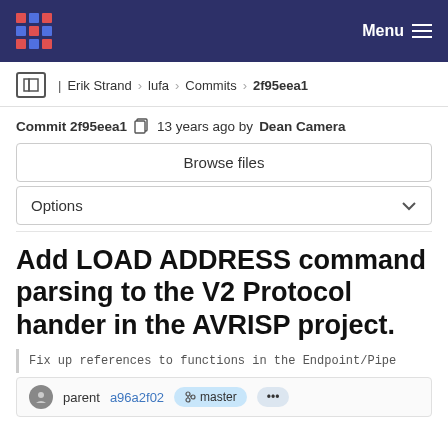Menu
Erik Strand > lufa > Commits > 2f95eea1
Commit 2f95eea1  13 years ago by Dean Camera
Browse files
Options
Add LOAD ADDRESS command parsing to the V2 Protocol hander in the AVRISP project.
Fix up references to functions in the Endpoint/Pipe
parent a96a2f02  master  ...